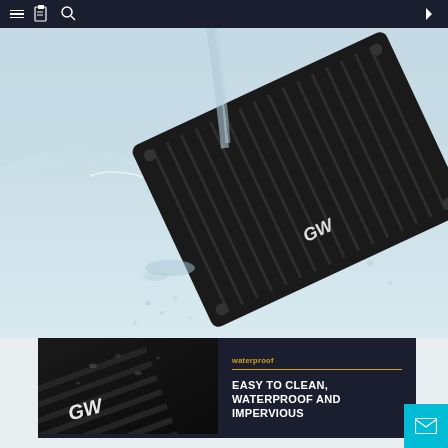[Figure (photo): Black rubber car floor mat (GW brand) submerged in water with water splashing around it, shown against a light blue-grey water background. The mat has ridged grooves and anti-slip studs, with the GW logo visible.]
[Figure (photo): Close-up of a dark rubber GW branded car floor mat with water droplets on its surface, showing the textured ribbed pattern and GW logo, on a dark background.]
waterproof
EASY TO CLEAN, WATERPROOF AND IMPERVIOUS